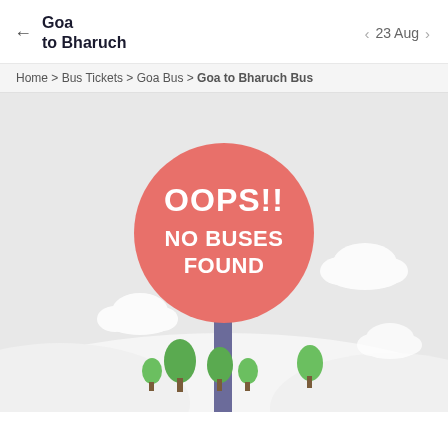Goa to Bharuch  ← | < 23 Aug >
Home > Bus Tickets > Goa Bus > Goa to Bharuch Bus
[Figure (illustration): No buses found illustration: a red circular sign on a pole reading OOPS!! NO BUSES FOUND, with green trees and white clouds on a light grey background with rolling hills.]